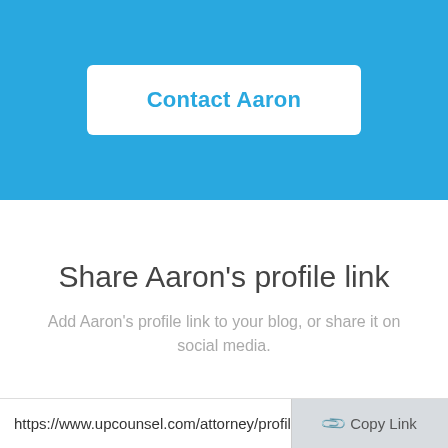[Figure (screenshot): Blue background section with a white rounded button labeled 'Contact Aaron' in blue text]
Share Aaron's profile link
Add Aaron's profile link to your blog, or share it on social media.
https://www.upcounsel.com/attorney/profile
Copy Link